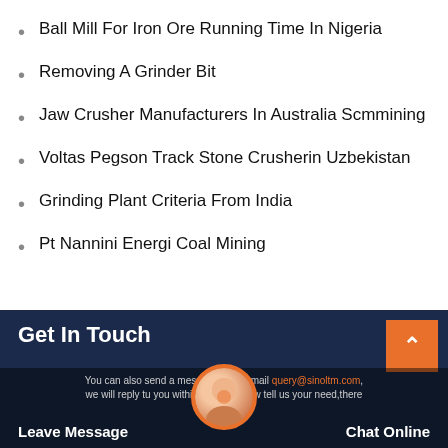Ball Mill For Iron Ore Running Time In Nigeria
Removing A Grinder Bit
Jaw Crusher Manufacturers In Australia Scmmining
Voltas Pegson Track Stone Crusherin Uzbekistan
Grinding Plant Criteria From India
Pt Nannini Energi Coal Mining
Get In Touch
You can also send a message to us email query@sinoltm.com, we will reply tu you within 24 hours,now tell us your need,there will
Leave Message
Chat Online